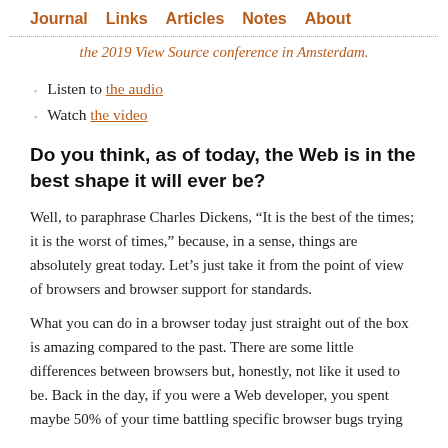Journal   Links   Articles   Notes   About
the 2019 View Source conference in Amsterdam.
Listen to the audio
Watch the video
Do you think, as of today, the Web is in the best shape it will ever be?
Well, to paraphrase Charles Dickens, “It is the best of the times; it is the worst of times,” because, in a sense, things are absolutely great today. Let’s just take it from the point of view of browsers and browser support for standards.
What you can do in a browser today just straight out of the box is amazing compared to the past. There are some little differences between browsers but, honestly, not like it used to be. Back in the day, if you were a Web developer, you spent maybe 50% of your time battling specific browser bugs trying